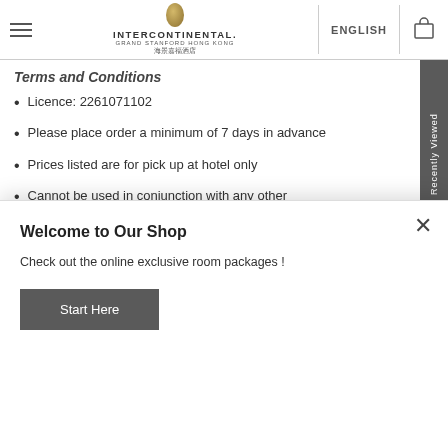InterContinental Grand Stanford Hong Kong | ENGLISH
Terms and Conditions
Licence: 2261071102
Please place order a minimum of 7 days in advance
Prices listed are for pick up at hotel only
Cannot be used in conjunction with any other promotional offers, each redemption letter can be used
Welcome to Our Shop
Check out the online exclusive room packages !